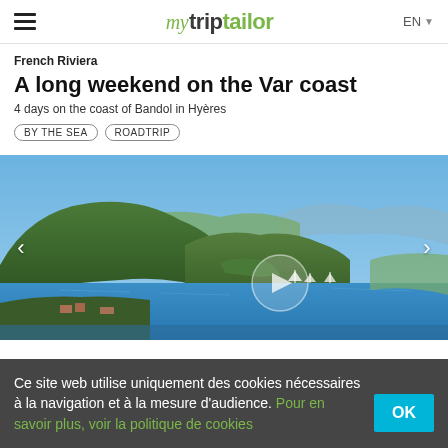mytriptailor  EN
French Riviera
A long weekend on the Var coast
4 days on the coast of Bandol in Hyères
BY THE SEA
ROADTRIP
[Figure (photo): Aerial coastal view of the Var coast near Hyères showing forested hills, a harbour with sailboats, blue Mediterranean sea and distant mountains under a clear blue sky.]
Ce site web utilise uniquement des cookies nécessaires à la navigation et à la mesure d'audience. Pour en savoir plus, voir la politique de cookies